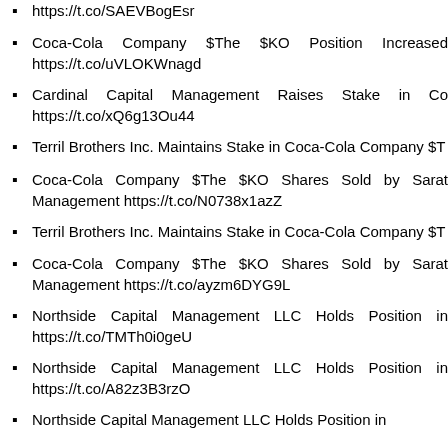https://t.co/SAEVBogEsr (truncated at top)
Coca-Cola Company $The $KO Position Increased https://t.co/uVLOKWnagd
Cardinal Capital Management Raises Stake in Co... https://t.co/xQ6g13Ou44
Terril Brothers Inc. Maintains Stake in Coca-Cola Company $T...
Coca-Cola Company $The $KO Shares Sold by Sarat... Management https://t.co/N0738x1azZ
Terril Brothers Inc. Maintains Stake in Coca-Cola Company $T...
Coca-Cola Company $The $KO Shares Sold by Sarat... Management https://t.co/ayzm6DYG9L
Northside Capital Management LLC Holds Position in ... https://t.co/TMTh0i0geU
Northside Capital Management LLC Holds Position in ... https://t.co/A82z3B3rzO
Northside Capital Management LLC Holds Position in ...